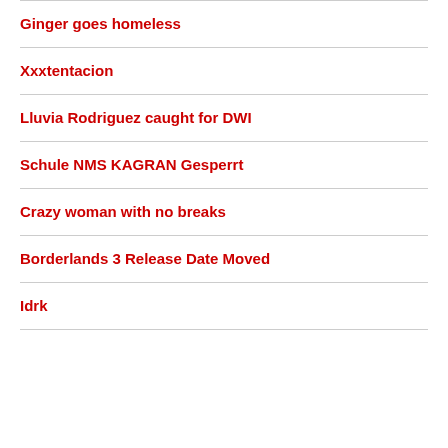Ginger goes homeless
Xxxtentacion
Lluvia Rodriguez caught for DWI
Schule NMS KAGRAN Gesperrt
Crazy woman with no breaks
Borderlands 3 Release Date Moved
Idrk